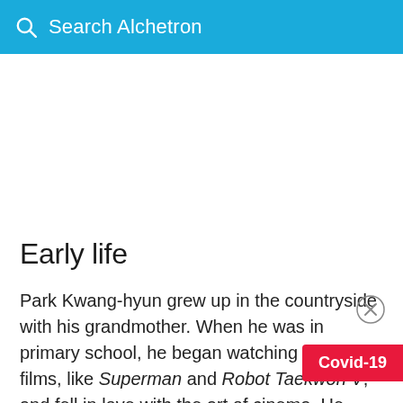Search Alchetron
Early life
Park Kwang-hyun grew up in the countryside with his grandmother. When he was in primary school, he began watching his first films, like Superman and Robot Taekwon V, and fell in love with the art of cinema. He would talk about films with friends all day, and go to the movie theater any